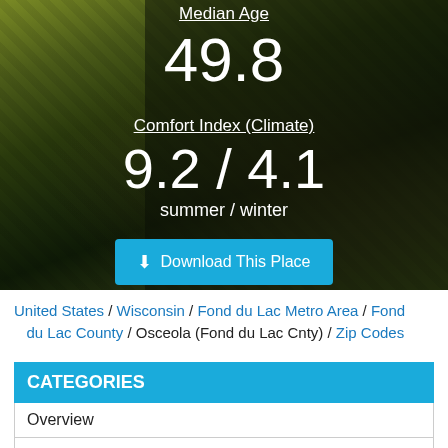[Figure (photo): Rocky outdoor background photo with dark overlay, showing median age and comfort index statistics overlay]
Median Age
49.8
Comfort Index (Climate)
9.2 / 4.1
summer / winter
Download This Place
United States / Wisconsin / Fond du Lac Metro Area / Fond du Lac County / Osceola (Fond du Lac Cnty) / Zip Codes
CATEGORIES
Overview
Real Estate
Cost of Living